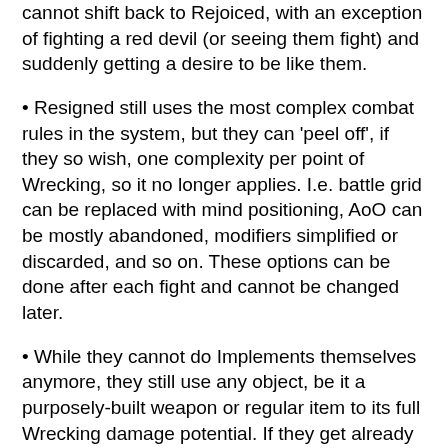cannot shift back to Rejoiced, with an exception of fighting a red devil (or seeing them fight) and suddenly getting a desire to be like them.
Resigned still uses the most complex combat rules in the system, but they can 'peel off', if they so wish, one complexity per point of Wrecking, so it no longer applies. I.e. battle grid can be replaced with mind positioning, AoO can be mostly abandoned, modifiers simplified or discarded, and so on. These options can be done after each fight and cannot be changed later.
While they cannot do Implements themselves anymore, they still use any object, be it a purposely-built weapon or regular item to its full Wrecking damage potential. If they get already Implemented weapon, they can use it with mods/tags imprinted into it, as echoes speak clearly to them still.
They retain some of the tolerance they have, but their MAW is considered a half of what it was; same goes for the Tide and Surge (if Resigned had them), and Resigned don't have Saint's blessing and neither they can catch The Moment in